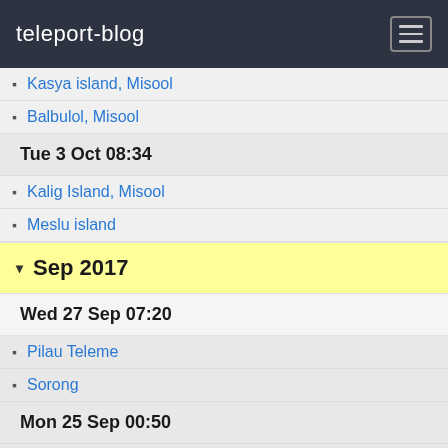teleport-blog
Kasya island, Misool
Balbulol, Misool
Tue 3 Oct 08:34
Kalig Island, Misool
Meslu island
Sep 2017
Wed 27 Sep 07:20
Pilau Teleme
Sorong
Mon 25 Sep 00:50
Yefman island
Sat 23 Sep 07:43
Matan island
Wed 20 Sep 10:43
Helena marina
Mon 4 Sep 07:01